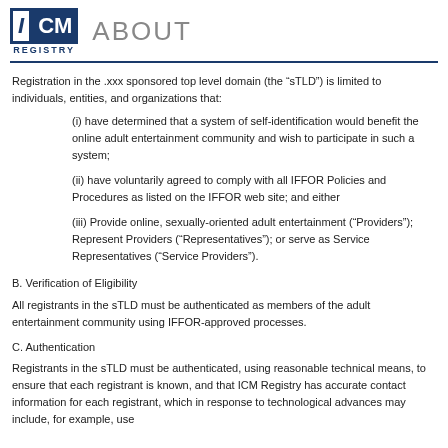ICM REGISTRY | ABOUT
Registration in the .xxx sponsored top level domain (the “sTLD”) is limited to individuals, entities, and organizations that:
(i) have determined that a system of self-identification would benefit the online adult entertainment community and wish to participate in such a system;
(ii) have voluntarily agreed to comply with all IFFOR Policies and Procedures as listed on the IFFOR web site; and either
(iii) Provide online, sexually-oriented adult entertainment (“Providers”); Represent Providers (“Representatives”); or Provide services to or for community members (“Providers”); Represent Providers (“Representatives”); or serve as Service Representatives (“Service Providers”).
B. Verification of Eligibility
All registrants in the sTLD must be authenticated as members of the adult entertainment community using IFFOR-approved processes.
C. Authentication
Registrants in the sTLD must be authenticated, using reasonable technical means, to ensure that each registrant is known, and that ICM Registry has accurate contact information for each registrant, which in response to technological advances may include, for example, use